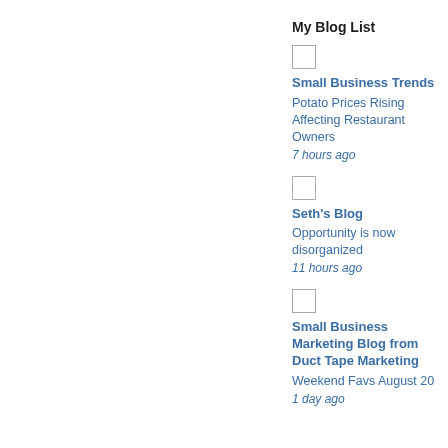My Blog List
Small Business Trends
Potato Prices Rising Affecting Restaurant Owners
7 hours ago
Seth's Blog
Opportunity is now disorganized
11 hours ago
Small Business Marketing Blog from Duct Tape Marketing
Weekend Favs August 20
1 day ago